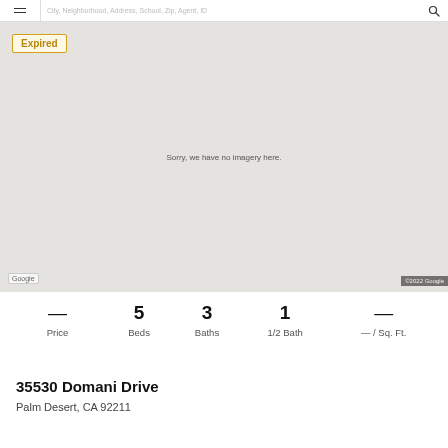City, Neighborhood, Address, School, Zip, Agent, ID
[Figure (map): Google Maps street view placeholder showing a gray map area with text 'Sorry, we have no imagery here.' and an 'Expired' badge in the top left corner. Google logo bottom left, ©2022 Google bottom right.]
— Price   5 Beds   3 Baths   1 1/2 Bath   — / Sq. Ft.
35530 Domani Drive
Palm Desert, CA 92211